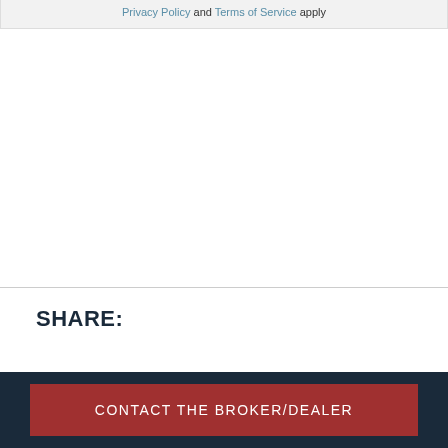Privacy Policy and Terms of Service apply
SHARE:
CONTACT THE BROKER/DEALER